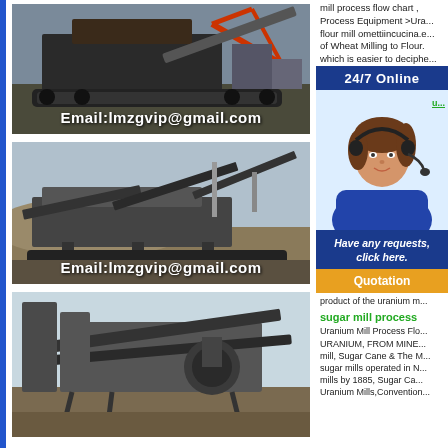[Figure (photo): Industrial crushing/mining machinery with email overlay: Email:lmzgvip@gmail.com]
[Figure (photo): Mobile crushing plant equipment in a quarry with email overlay: Email:lmzgvip@gmail.com]
[Figure (photo): Large industrial mining conveyor and processing equipment]
mill process flow chart , Process Equipment >Uranium flour mill omettiincucina.e... of Wheat Milling to Flour. which is easier to deciphe...
[Figure (infographic): 24/7 Online customer service widget with photo of woman with headset, 'Have any requests, click here.' overlay, and Quotation button]
sugar mill process
Uranium Mill Process Flo... URANIUM, FROM MINE... mill, Sugar Cane & The M... sugar mills operated in N... mills by 1885, Sugar Ca... Uranium Mills,Convention...